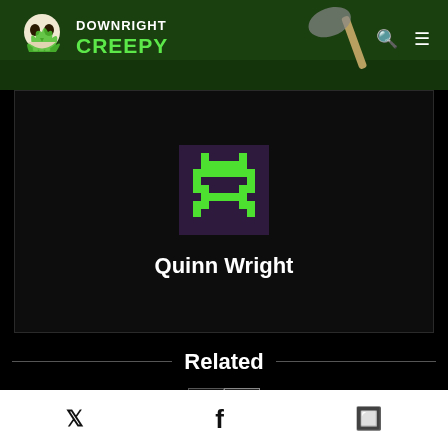Downright Creepy
[Figure (illustration): Pixel art alien/space invader sprite with green color on dark purple background, displayed as author avatar]
Quinn Wright
Related
Social share icons: Twitter, Facebook, WhatsApp